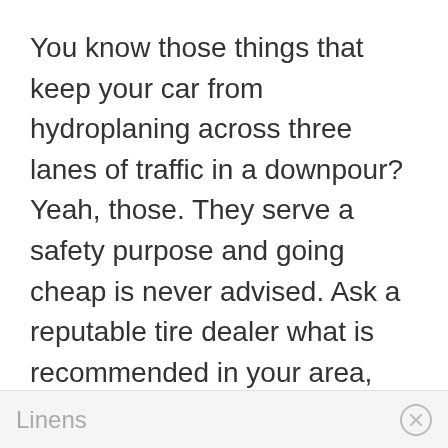You know those things that keep your car from hydroplaning across three lanes of traffic in a downpour? Yeah, those. They serve a safety purpose and going cheap is never advised. Ask a reputable tire dealer what is recommended in your area, tires are expensive and what works in Phoenix is not going to be ideal for those who live in Seattle, so make sure you know what you need before buying.
Linens